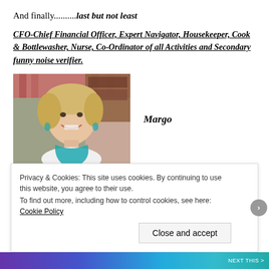And finally.........last but not least
CFO-Chief Financial Officer, Expert Navigator, Housekeeper, Cook & Bottlewasher, Nurse, Co-Ordinator of all Activities and Secondary funny noise verifier.
[Figure (photo): Portrait photo of a smiling woman named Margo with short blonde hair and a teal/blue scarf, seated indoors.]
Margo
Privacy & Cookies: This site uses cookies. By continuing to use this website, you agree to their use.
To find out more, including how to control cookies, see here: Cookie Policy
Close and accept